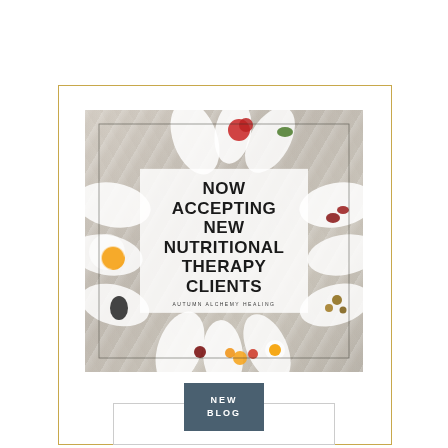[Figure (photo): Promotional image for Autumn Alchemy Healing nutritional therapy services. Shows various foods (fruits, nuts, eggs, vegetables) arranged in white spoon-shaped dishes on a marble background. Overlaid with a semi-transparent white box containing bold text: NOW ACCEPTING NEW NUTRITIONAL THERAPY CLIENTS and branding AUTUMN ALCHEMY HEALING.]
[Figure (other): A dark teal/slate colored button labeled NEW BLOG in white uppercase letters, overlapping a white outlined rectangle below.]